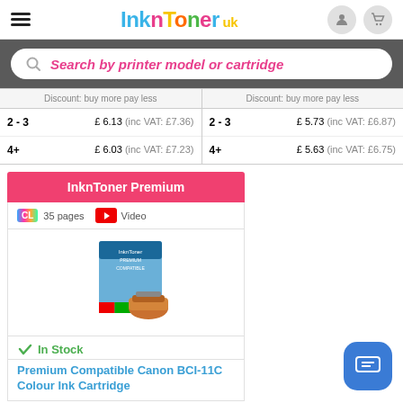InknToner UK
Search by printer model or cartridge
| Discount: buy more pay less | Discount: buy more pay less |
| --- | --- |
| 2 - 3 | £ 6.13 (inc VAT: £7.36) | 2 - 3 | £ 5.73 (inc VAT: £6.87) |
| 4+ | £ 6.03 (inc VAT: £7.23) | 4+ | £ 5.63 (inc VAT: £6.75) |
InknToner Premium
CL  35 pages   Video
[Figure (photo): Premium Compatible Canon BCI-11C Colour Ink Cartridge product image with box]
In Stock
Premium Compatible Canon BCI-11C Colour Ink Cartridge